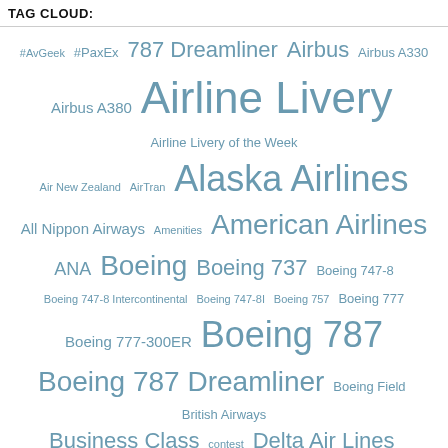TAG CLOUD:
[Figure (infographic): A tag cloud displaying aviation and travel related tags in varying sizes and a muted steel blue color. Tags include: #AvGeek, #PaxEx, 787 Dreamliner, Airbus, Airbus A330, Airbus A380, Airline Livery, Airline Livery of the Week, Air New Zealand, AirTran, Alaska Airlines, All Nippon Airways, Amenities, American Airlines, ANA, Boeing, Boeing 737, Boeing 747-8, Boeing 747-8 Intercontinental, Boeing 747-8I, Boeing 757, Boeing 777, Boeing 777-300ER, Boeing 787, Boeing 787 Dreamliner, Boeing Field, British Airways, Business Class, contest, Delta Air Lines, Dreamliner, economy, Economy Review, First Class, First Flight, Flight Review, Future of Flight, JetBlue, KPAE, LAX, Livery of the Week, My Review, PAE, Paine Field, Photos, Qatar Airways, Boeing, Safety, SEA, Seattle]